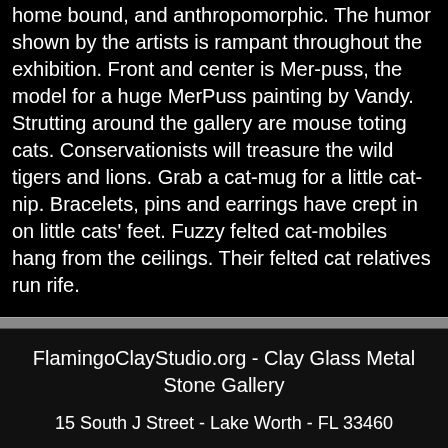home bound, and anthropomorphic. The humor shown by the artists is rampant throughout the exhibition. Front and center is Mer-puss, the model for a huge MerPuss painting by Vandy. Strutting around the gallery are mouse toting cats. Conservationists will treasure the wild tigers and lions. Grab a cat-mug for a little cat-nip. Bracelets, pins and earrings have crept in on little cats' feet. Fuzzy felted cat-mobiles hang from the ceilings. Their felted cat relatives run rife.
FlamingoClayStudio.org - Clay Glass Metal Stone Gallery
15 South J Street - Lake Worth - FL 33460
View as Desktop   My Sites
Powered By  Google Sites